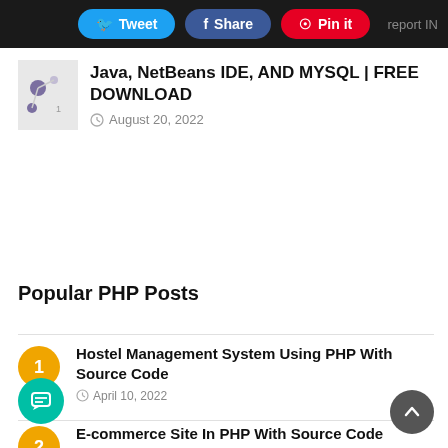Tweet | Share | Pin it | report IN
Java, NetBeans IDE, AND MYSQL | FREE DOWNLOAD
August 20, 2022
Popular PHP Posts
1  Hostel Management System Using PHP With Source Code  April 10, 2022
2  E-commerce Site In PHP With Source Code  June 20, 2022